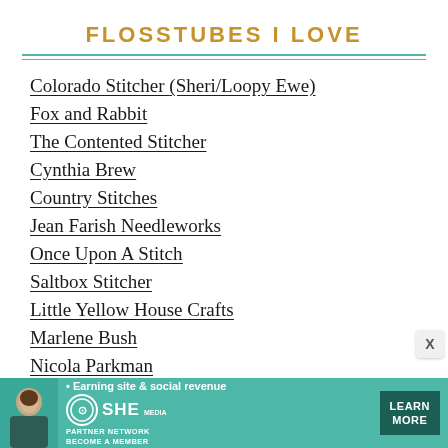FLOSSTUBES I LOVE
Colorado Stitcher (Sheri/Loopy Ewe)
Fox and Rabbit
The Contented Stitcher
Cynthia Brew
Country Stitches
Jean Farish Needleworks
Once Upon A Stitch
Saltbox Stitcher
Little Yellow House Crafts
Marlene Bush
Nicola Parkman
[Figure (infographic): Advertisement banner for SHE Media Partner Network — teal background with a woman photo, text 'Earning site & social revenue', SHE logo, and a dark teal 'LEARN MORE' button with 'BECOME A MEMBER' text]